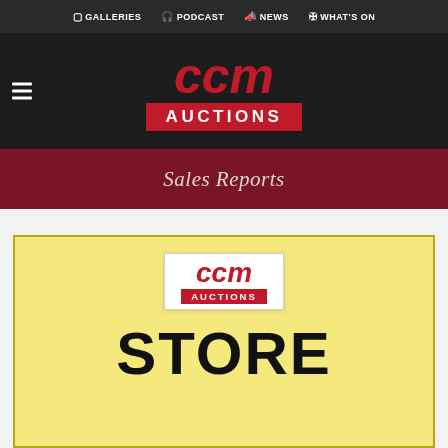GALLERIES  PODCAST  NEWS  WHAT'S ON
[Figure (logo): CCM Auctions logo: stylized italic red letters 'ccm' with 'AUCTIONS' in white on red bar beneath, on dark background with hamburger menu icon on left]
Sales Reports
[Figure (illustration): CCM Auctions store flyer on yellow background with border: CCM Auctions logo at top and large bold text 'STORE' below]